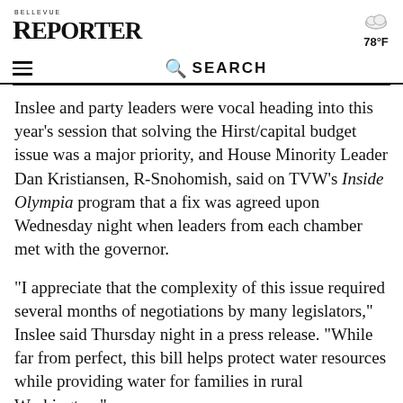BELLEVUE REPORTER
[Figure (illustration): Cloud weather icon with temperature 78°F]
Inslee and party leaders were vocal heading into this year's session that solving the Hirst/capital budget issue was a major priority, and House Minority Leader Dan Kristiansen, R-Snohomish, said on TVW's Inside Olympia program that a fix was agreed upon Wednesday night when leaders from each chamber met with the governor.
"I appreciate that the complexity of this issue required several months of negotiations by many legislators," Inslee said Thursday night in a press release. "While far from perfect, this bill helps protect water resources while providing water for families in rural Washington."